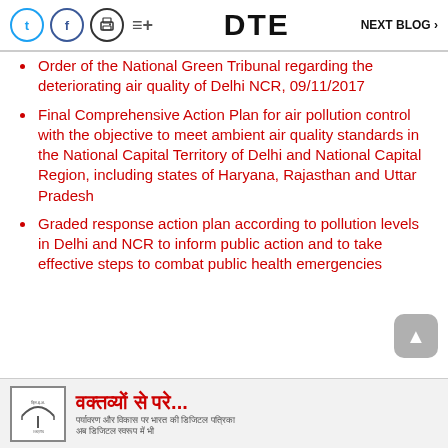DTE  NEXT BLOG >
Order of the National Green Tribunal regarding the deteriorating air quality of Delhi NCR, 09/11/2017
Final Comprehensive Action Plan for air pollution control with the objective to meet ambient air quality standards in the National Capital Territory of Delhi and National Capital Region, including states of Haryana, Rajasthan and Uttar Pradesh
Graded response action plan according to pollution levels in Delhi and NCR to inform public action and to take effective steps to combat public health emergencies
[Figure (logo): Advertisement banner in Hindi for a publication, with logo and text 'वक्तव्यों से परे...' in red with smaller Hindi subtitle text]